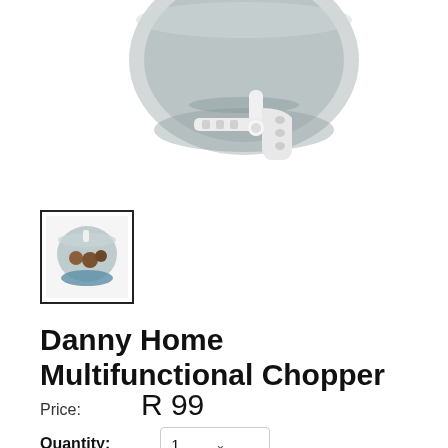[Figure (photo): Product photo of Danny Home Multifunctional Chopper — a transparent dark smoky grey plastic bowl with white pull-cord handle mechanism, photographed on white background, partially cropped at top]
[Figure (photo): Small thumbnail image of the Danny Home Multifunctional Chopper product (selected state, with black border), showing the chopper from a different angle with food]
Danny Home Multifunctional Chopper
Price:  R 99
Quantity:  1